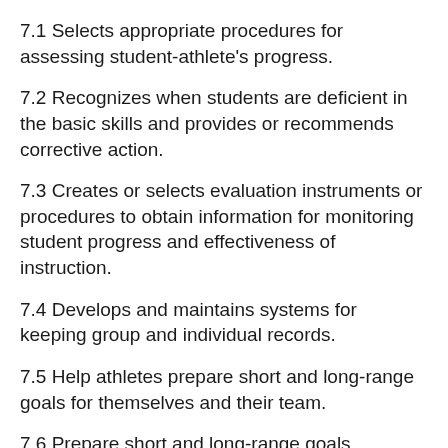7.1 Selects appropriate procedures for assessing student-athlete's progress.
7.2 Recognizes when students are deficient in the basic skills and provides or recommends corrective action.
7.3 Creates or selects evaluation instruments or procedures to obtain information for monitoring student progress and effectiveness of instruction.
7.4 Develops and maintains systems for keeping group and individual records.
7.5 Help athletes prepare short and long-range goals for themselves and their team.
7.6 Prepare short and long-range goals.